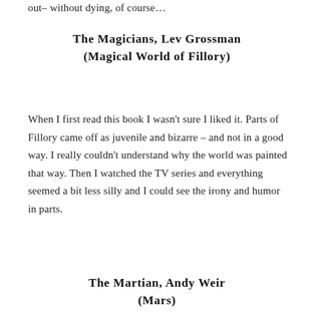out– without dying, of course…
The Magicians, Lev Grossman (Magical World of Fillory)
When I first read this book I wasn't sure I liked it. Parts of Fillory came off as juvenile and bizarre – and not in a good way. I really couldn't understand why the world was painted that way. Then I watched the TV series and everything seemed a bit less silly and I could see the irony and humor in parts.
The Martian, Andy Weir (Mars)